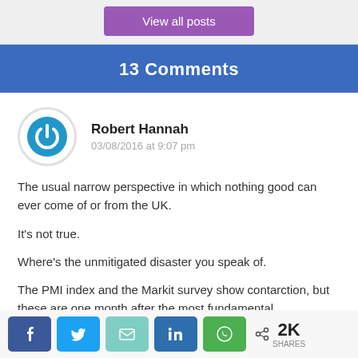View all posts
13 Comments
Robert Hannah
03/08/2016 at 9:07 pm
The usual narrow perspective in which nothing good can ever come of or from the UK.

It's not true.

Where's the unmitigated disaster you speak of.

The PMI index and the Markit survey show contarction, but these are one month after the most fundamental
[Figure (other): Social share bar with Facebook, Twitter, Email, LinkedIn, WhatsApp buttons and 2K shares count]